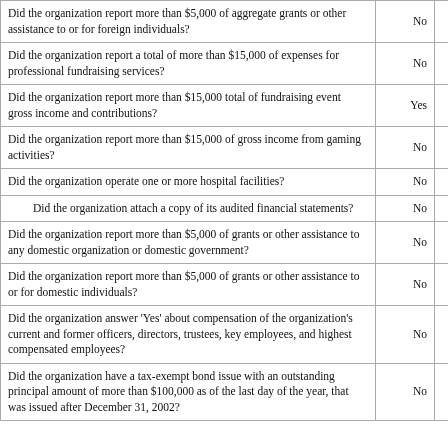| Question | Col1 | Col2 |
| --- | --- | --- |
| Did the organization report more than $5,000 of aggregate grants or other assistance to or for foreign individuals? | No | No |
| Did the organization report a total of more than $15,000 of expenses for professional fundraising services? | No | Yes |
| Did the organization report more than $15,000 total of fundraising event gross income and contributions? | Yes | Yes |
| Did the organization report more than $15,000 of gross income from gaming activities? | No | No |
| Did the organization operate one or more hospital facilities? | No | No |
| Did the organization attach a copy of its audited financial statements? | No | No |
| Did the organization report more than $5,000 of grants or other assistance to any domestic organization or domestic government? | No | No |
| Did the organization report more than $5,000 of grants or other assistance to or for domestic individuals? | No | No |
| Did the organization answer 'Yes' about compensation of the organization's current and former officers, directors, trustees, key employees, and highest compensated employees? | No | No |
| Did the organization have a tax-exempt bond issue with an outstanding principal amount of more than $100,000 as of the last day of the year, that was issued after December 31, 2002? | No | No |